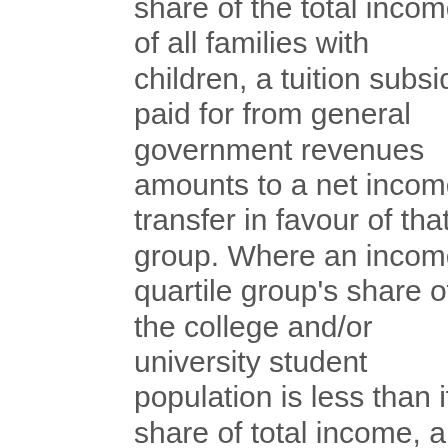share of the total income of all families with children, a tuition subsidy paid for from general government revenues amounts to a net income transfer in favour of that group. Where an income quartile group's share of the college and/or university student population is less than its share of total income, a tuition subsidy paid